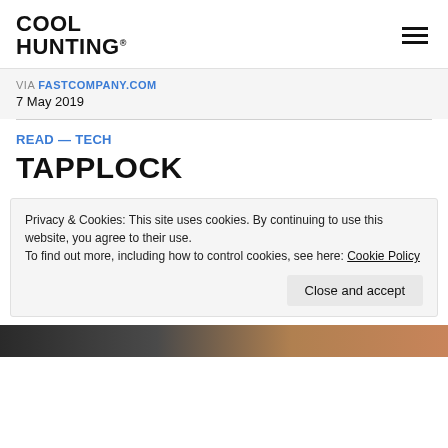COOL HUNTING®
VIA FASTCOMPANY.COM
7 May 2019
READ — TECH
TAPPLOCK
Privacy & Cookies: This site uses cookies. By continuing to use this website, you agree to their use.
To find out more, including how to control cookies, see here: Cookie Policy
[Figure (photo): Partial image strip at bottom of page, dark and warm-toned]